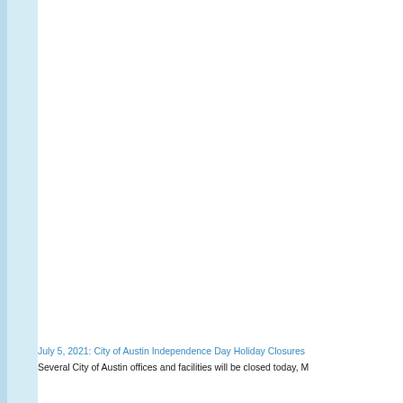July 5, 2021: City of Austin Independence Day Holiday Closures
Several City of Austin offices and facilities will be closed today, M